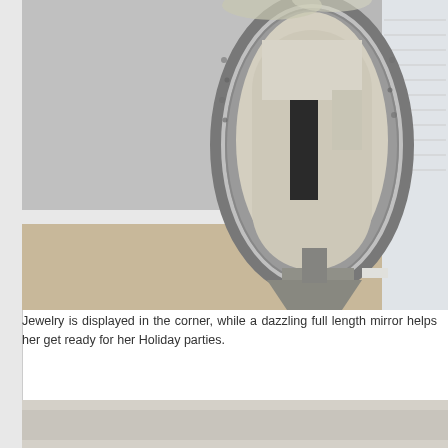[Figure (photo): A decorative full-length standing mirror with a silver/mosaic embellished frame, leaning in the corner of a room with grey walls, beige carpet, and a window with blinds on the right. A chandelier is partially visible at the top of the frame.]
Jewelry is displayed in the corner, while a dazzling full length mirror helps her get ready for her Holiday parties.
[Figure (photo): Partial view of another room scene, bottom of page, mostly white/light beige tones.]